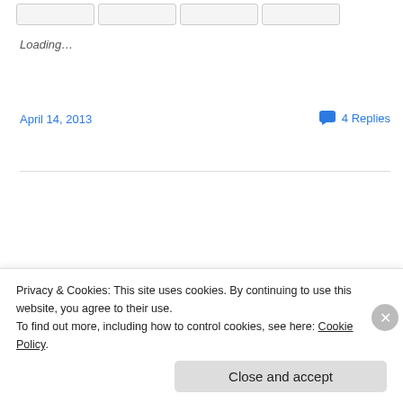Loading...
April 14, 2013
4 Replies
[Figure (photo): Profile photo of a young woman smiling, with brownish hair, set against a warm indoor background with decorative elements. Photo has rounded corners and a green border. To the left is a 'HELLO! KAT' badge in green rotated text.]
Privacy & Cookies: This site uses cookies. By continuing to use this website, you agree to their use.
To find out more, including how to control cookies, see here: Cookie Policy
Close and accept